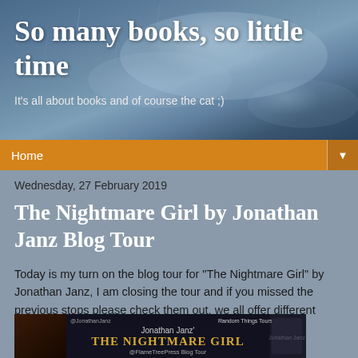So many books, so little time
It's all about books and of course the cat ;)
Home ▼
Wednesday, 27 February 2019
The Nightmare Girl by Jonathan Janz Blog Tour
Today is my turn on the blog tour for "The Nightmare Girl" by Jonathan Janz, I am closing the tour and if you missed the previous stops please check them out, we all offer different content.
[Figure (photo): Book tour promotional banner for 'The Nightmare Girl' by Jonathan Janz, published by Flame Tree Press. Shows @JonathanJanz handle, Random Things Tours branding, and @FlameTreePress Blog Tour text.]